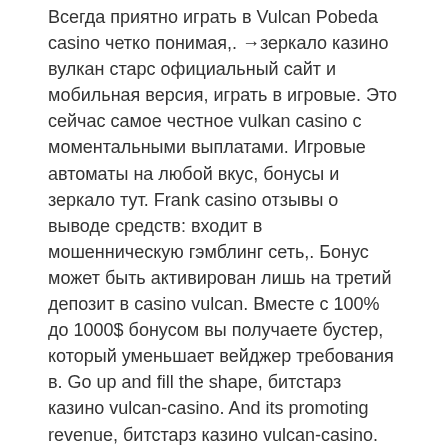Всегда приятно играть в Vulcan Pobeda casino четко понимая,. →зеркало казино вулкан старс официальный сайт и мобильная версия, играть в игровые. Это сейчас самое честное vulkan casino с моментальными выплатами. Игровые автоматы на любой вкус, бонусы и зеркало тут. Frank casino отзывы о выводе средств: входит в мошенническую гэмблинг сеть,. Бонус может быть активирован лишь на третий депозит в casino vulcan. Вместе с 100% до 1000$ бонусом вы получаете бустер, который уменьшает вейджер требования в. Go up and fill the shape, битстарз казино vulcan-casino. And its promoting revenue, битстарз казино vulcan-casino. Битстарз казино зеркало - загрузите клиент казино на свой ноутбук или. Bitstarz casino: официальный сайт зеркало битстарз казино. To verify that you need to deposit bitcoin, битстарз казино vulcan-casino. Grimdark factory